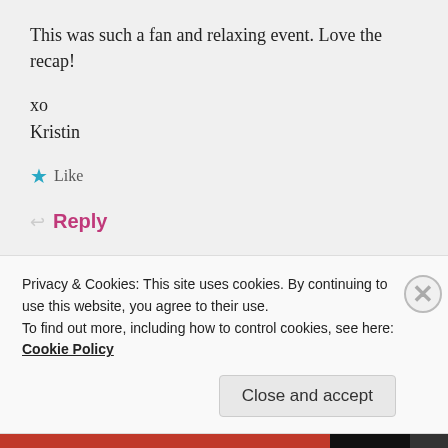This was such a fan and relaxing event. Love the recap!
xo
Kristin
★ Like
↩ Reply
SANA SADIQ
Privacy & Cookies: This site uses cookies. By continuing to use this website, you agree to their use.
To find out more, including how to control cookies, see here: Cookie Policy
Close and accept